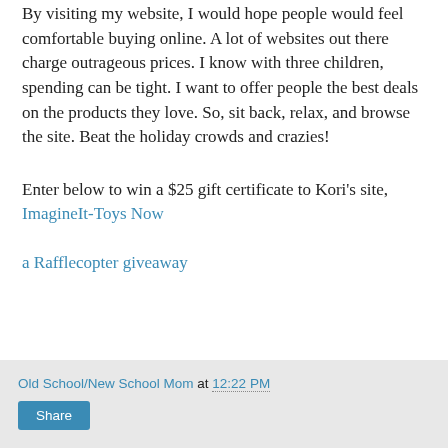By visiting my website, I would hope people would feel comfortable buying online. A lot of websites out there charge outrageous prices. I know with three children, spending can be tight. I want to offer people the best deals on the products they love. So, sit back, relax, and browse the site. Beat the holiday crowds and crazies!
Enter below to win a $25 gift certificate to Kori's site, ImagineIt-Toys Now
a Rafflecopter giveaway
Old School/New School Mom at 12:22 PM Share